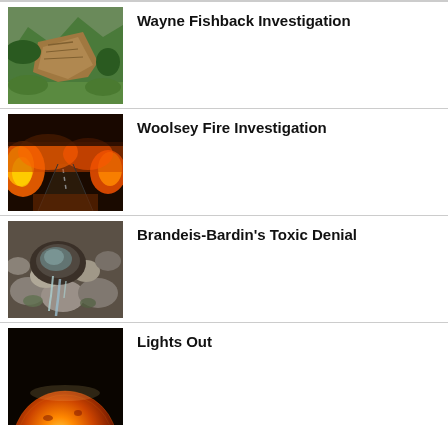[Figure (photo): Aerial view of hillside with landslide or cleared terrain, green hills and mountains in background]
Wayne Fishback Investigation
[Figure (photo): Wildfire at night showing flames and smoke along a road with orange glow]
Woolsey Fire Investigation
[Figure (photo): Close-up of rocks and stones with water or toxic substance flowing through them]
Brandeis-Bardin's Toxic Denial
[Figure (photo): Dark image of a glowing sphere resembling the sun or a planet]
Lights Out